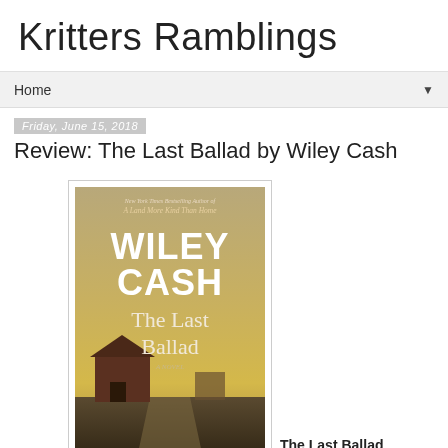Kritters Ramblings
Home ▼
Friday, June 15, 2018
Review: The Last Ballad by Wiley Cash
[Figure (photo): Book cover of The Last Ballad by Wiley Cash showing author name in large white text, title in serif font, and a rural scene with a barn and dirt road]
The Last Ballad by Wiley Cash